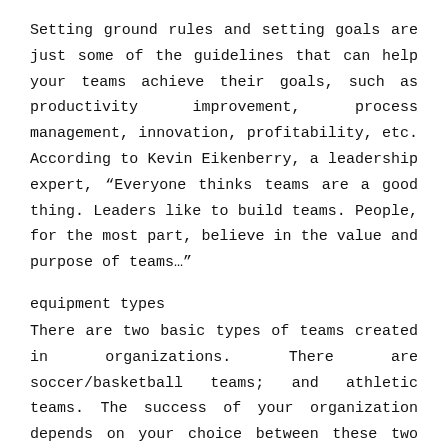Setting ground rules and setting goals are just some of the guidelines that can help your teams achieve their goals, such as productivity improvement, process management, innovation, profitability, etc. According to Kevin Eikenberry, a leadership expert, “Everyone thinks teams are a good thing. Leaders like to build teams. People, for the most part, believe in the value and purpose of teams…”
equipment types
There are two basic types of teams created in organizations. There are soccer/basketball teams; and athletic teams. The success of your organization depends on your choice between these two types and how effectively you are able to manage the